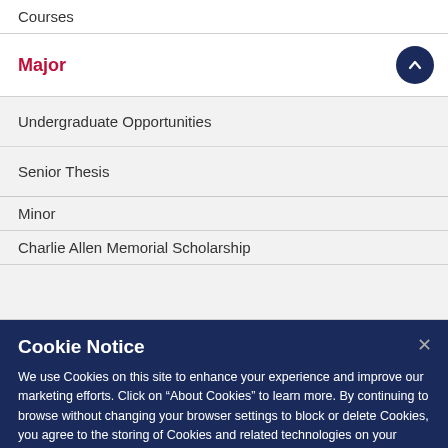Courses
Major
Undergraduate Opportunities
Senior Thesis
Minor
Charlie Allen Memorial Scholarship
Cookie Notice
We use Cookies on this site to enhance your experience and improve our marketing efforts. Click on “About Cookies” to learn more. By continuing to browse without changing your browser settings to block or delete Cookies, you agree to the storing of Cookies and related technologies on your device.  University of Illinois System Cookie Policy